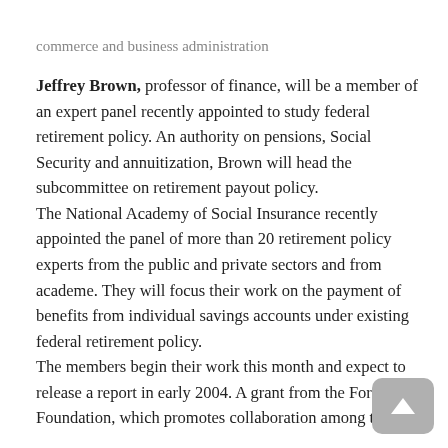commerce and business administration
Jeffrey Brown, professor of finance, will be a member of an expert panel recently appointed to study federal retirement policy. An authority on pensions, Social Security and annuitization, Brown will head the subcommittee on retirement payout policy. The National Academy of Social Insurance recently appointed the panel of more than 20 retirement policy experts from the public and private sectors and from academe. They will focus their work on the payment of benefits from individual savings accounts under existing federal retirement policy. The members begin their work this month and expect to release a report in early 2004. A grant from the Ford Foundation, which promotes collaboration among the